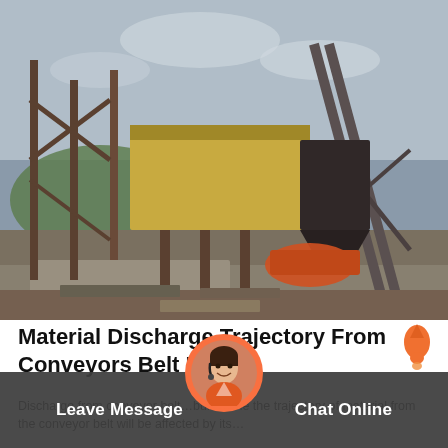[Figure (photo): Industrial conveyor belt and screening/crushing equipment at a mining or aggregate processing site. Steel framework structures, yellow box structure, orange tarp, overcast sky, hillside in background.]
Material Discharge Trajectory From Conveyors Belt Excel
Discharge from conveyor belt…bulkonline the trajectory of material from the conveyor belt will be affected by its…
[Figure (photo): Customer service avatar: woman with headset, circular framed portrait with orange border, chat/support widget.]
Leave Message
Chat Online